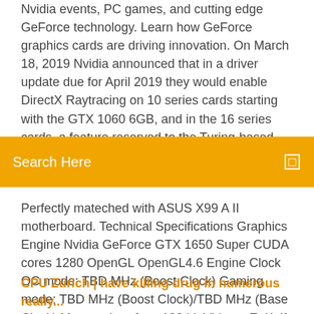Nvidia events, PC games, and cutting edge GeForce technology. Learn how GeForce graphics cards are driving innovation. On March 18, 2019 Nvidia announced that in a driver update due for April 2019 they would enable DirectX Raytracing on 10 series cards starting with the GTX 1060 6GB, and in the 16 series cards, a feature reserved to the Turing-based RTX... Second Life
Search Here
Perfectly mateched with ASUS X99 A II motherboard. Technical Specifications Graphics Engine Nvidia GeForce GTX 1650 Super CUDA cores 1280 OpenGL OpenGL4.6 Engine Clock OC mode: TBD MHz (Boost Clock) Gaming mode: TBD MHz (Boost Clock)/TBD MHz (Base Clock) Memory Interface 128 bit Video... EeK, if you did things right and made the dependency check recursive, the full dependencies for ShadowPlay according to Cyris' info are: - GFExperience
CPU Zürich | have killing drug in numerous really...